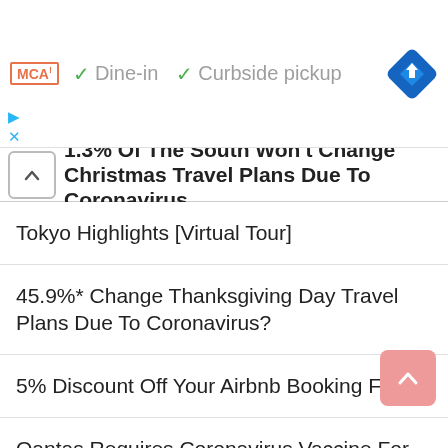[Figure (screenshot): McDonald's ad banner with MCA! logo, green checkmarks for Dine-in and Curbside pickup, and a blue navigation diamond icon]
1.3% Of The South Won't Change Christmas Travel Plans Due To Coronavirus
Tokyo Highlights [Virtual Tour]
45.9%* Change Thanksgiving Day Travel Plans Due To Coronavirus?
5% Discount Off Your Airbnb Booking Fee
Qantas Requires Coronavirus Vaccine For International Travellers
Disneyland Paris Closes Temporarily